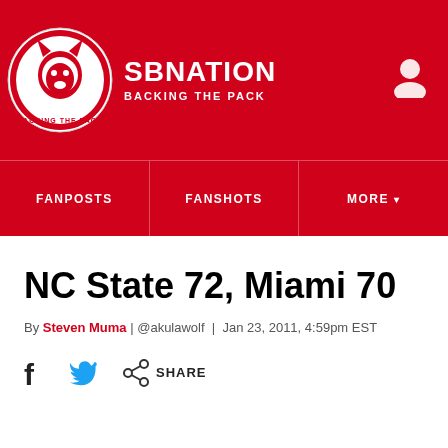SB NATION | BACKING THE PACK
NC State 72, Miami 70
By Steven Muma | @akulawolf | Jan 23, 2011, 4:59pm EST
SHARE